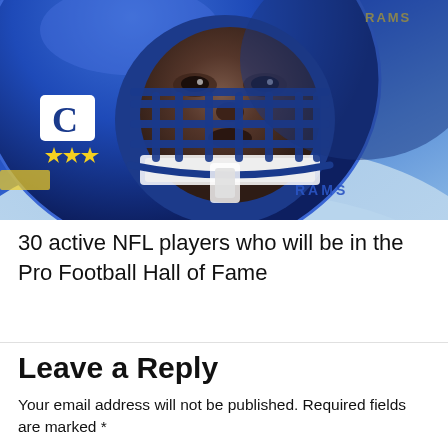[Figure (photo): Close-up photo of an NFL player wearing a Los Angeles Rams blue helmet with facemask, captain patch with C and three stars, and blue Rams jersey]
30 active NFL players who will be in the Pro Football Hall of Fame
Leave a Reply
Your email address will not be published. Required fields are marked *